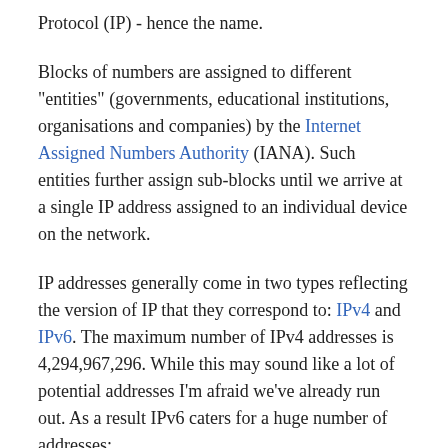Protocol (IP) - hence the name.
Blocks of numbers are assigned to different "entities" (governments, educational institutions, organisations and companies) by the Internet Assigned Numbers Authority (IANA). Such entities further assign sub-blocks until we arrive at a single IP address assigned to an individual device on the network.
IP addresses generally come in two types reflecting the version of IP that they correspond to: IPv4 and IPv6. The maximum number of IPv4 addresses is 4,294,967,296. While this may sound like a lot of potential addresses I'm afraid we've already run out. As a result IPv6 caters for a huge number of addresses: 340,282,366,920,938,463,463,374,607,431,768,211,456 (that's 2^128). The Internet is currently transitioning from IPv4 to IPv6.
Because humans are no good at remembering long